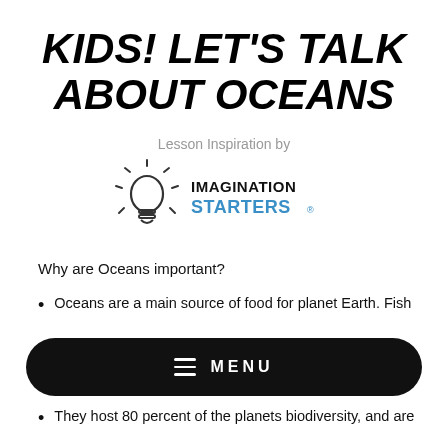KIDS! LET'S TALK ABOUT OCEANS
Lesson Inspiration by
[Figure (logo): Imagination Starters logo with lightbulb icon and text 'IMAGINATION STARTERS']
Why are Oceans important?
Oceans are a main source of food for planet Earth. Fish
[Figure (other): Black pill-shaped menu bar with hamburger icon and MENU text]
They host 80 percent of the planets biodiversity, and are